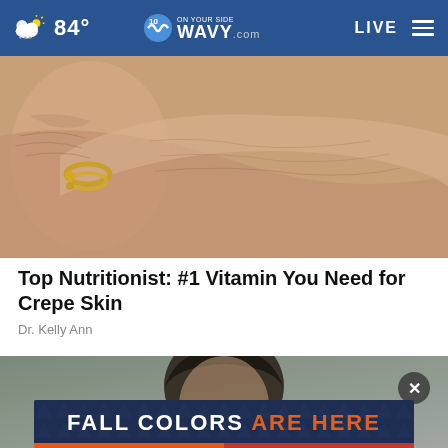84° WAVY.com ON YOUR SIDE LIVE
[Figure (photo): Close-up photo of elderly person's hands and forearm showing wrinkled, crepey skin with a gold bracelet/ring]
Top Nutritionist: #1 Vitamin You Need for Crepe Skin
Dr. Kelly Ann
[Figure (photo): Photo of a person (dark-haired) with an advertisement overlay reading FALL COLORS ARE HERE with a close button (x)]